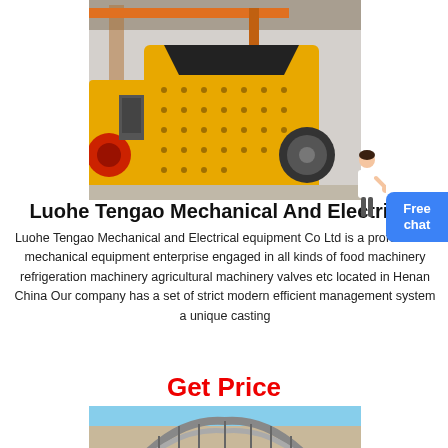[Figure (photo): Yellow industrial impact crusher machine in a factory/warehouse setting with orange overhead crane structure visible in background]
Luohe Tengao Mechanical And Electrical
Luohe Tengao Mechanical and Electrical equipment Co Ltd is a professional mechanical equipment enterprise engaged in all kinds of food machinery refrigeration machinery agricultural machinery valves etc located in Henan China Our company has a set of strict modern efficient management system a unique casting
Get Price
[Figure (photo): Construction or industrial structure with curved concrete/steel framework being built, partially visible at bottom of page]